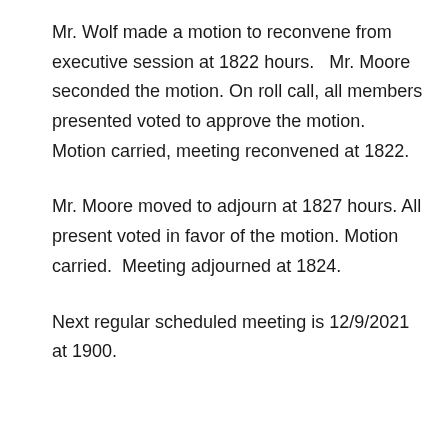Mr. Wolf made a motion to reconvene from executive session at 1822 hours.   Mr. Moore seconded the motion. On roll call, all members presented voted to approve the motion.  Motion carried, meeting reconvened at 1822.
Mr. Moore moved to adjourn at 1827 hours. All present voted in favor of the motion. Motion carried.  Meeting adjourned at 1824.
Next regular scheduled meeting is 12/9/2021 at 1900.